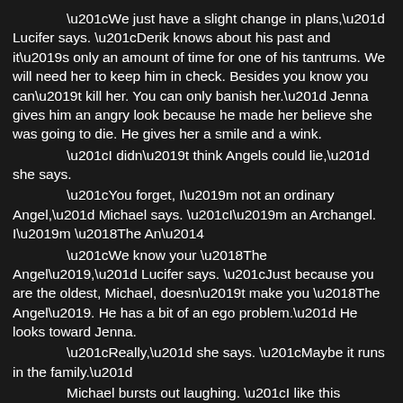“We just have a slight change in plans,” Lucifer says. “Derik knows about his past and it’s only an amount of time for one of his tantrums. We will need her to keep him in check. Besides you know you can’t kill her. You can only banish her.” Jenna gives him an angry look because he made her believe she was going to die. He gives her a smile and a wink.
“I didn’t think Angels could lie,” she says.
“You forget, I’m not an ordinary Angel,” Michael says. “I’m an Archangel. I’m ‘The An—
“We know your ‘The Angel’,” Lucifer says. “Just because you are the oldest, Michael, doesn’t make you ‘The Angel’. He has a bit of an ego problem.” He looks toward Jenna.
“Really,” she says. “Maybe it runs in the family.”
Michael bursts out laughing. “I like this girl,” he says. “I hope it works out for you, Sweetheart.” He gives her another wink and vanishes.
Lucifer rolls his eyes. “Okay, this is how it’s going to go…”
“Let me finish that sentence for you, Father,” Derik says.